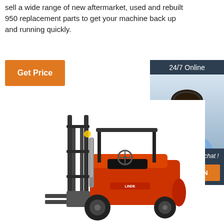sell a wide range of new aftermarket, used and rebuilt 950 replacement parts to get your machine back up and running quickly.
Get Price
24/7 Online
[Figure (photo): Customer service representative woman wearing headset, smiling]
Click here for free chat !
QUOTATION
[Figure (photo): Red Linde forklift machine on white background]